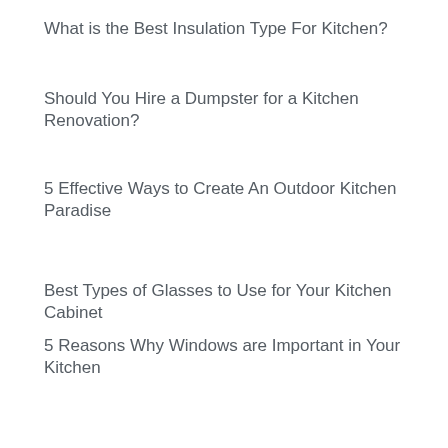What is the Best Insulation Type For Kitchen?
Should You Hire a Dumpster for a Kitchen Renovation?
5 Effective Ways to Create An Outdoor Kitchen Paradise
Best Types of Glasses to Use for Your Kitchen Cabinet
5 Reasons Why Windows are Important in Your Kitchen
[Figure (logo): Ezoic logo with green badge icon and bold text 'ezoic', with 'report this ad' text on the right]
What Doesn’t Work in a Kitchen? Layout and Organization Advice